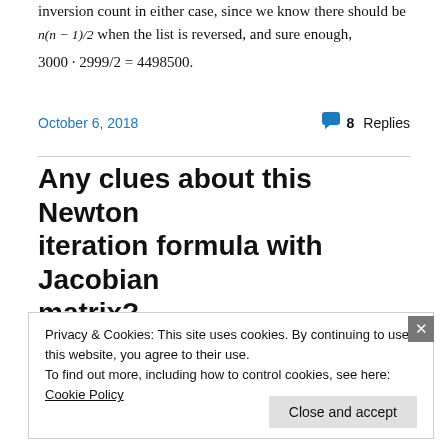inversion count in either case, since we know there should be n(n − 1)/2 when the list is reversed, and sure enough, 3000 · 2999/2 = 4498500.
October 6, 2018    💬 8 Replies
Any clues about this Newton iteration formula with Jacobian matrix?
Privacy & Cookies: This site uses cookies. By continuing to use this website, you agree to their use.
To find out more, including how to control cookies, see here: Cookie Policy
Close and accept